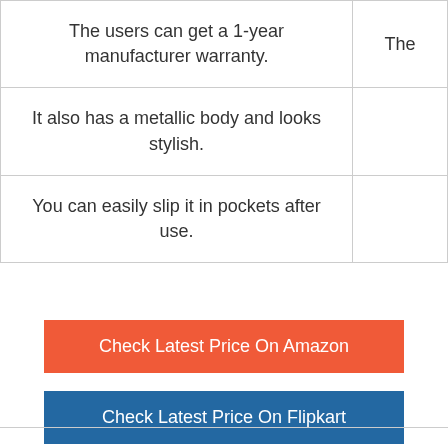| The users can get a 1-year manufacturer warranty. | The |
| It also has a metallic body and looks stylish. |  |
| You can easily slip it in pockets after use. |  |
Check Latest Price On Amazon
Check Latest Price On Flipkart